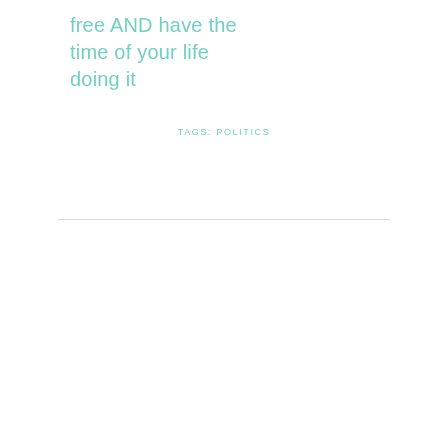free AND have the time of your life doing it
TAGS: POLITICS